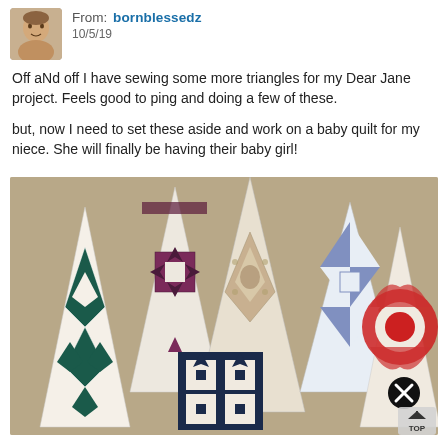From: bornblessedz
10/5/19
Off aNd off I have sewing some more triangles for my Dear Jane project.  Feels good to ping and doing a few of these.
but, now I need to set these aside and work on a baby quilt for my niece.  She will finally be having their baby girl!
[Figure (photo): Photo of five quilt triangle blocks laid out on carpet, featuring various fabric patterns including dark teal geometric, purple/maroon star, beige floral diamond, blue/white half-square triangles, and red/white circular pattern.]